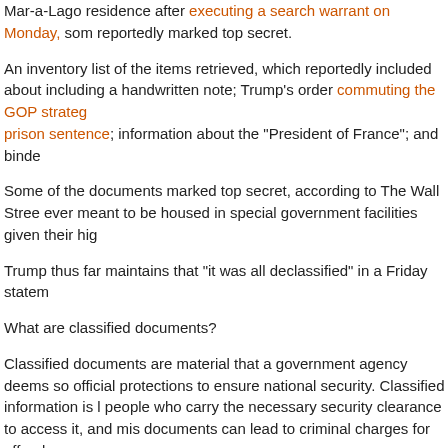Mar-a-Lago residence after executing a search warrant on Monday, some reportedly marked top secret.
An inventory list of the items retrieved, which reportedly included about including a handwritten note; Trump's order commuting the GOP strategy prison sentence; information about the "President of France"; and binde
Some of the documents marked top secret, according to The Wall Stree ever meant to be housed in special government facilities given their hig
Trump thus far maintains that "it was all declassified" in a Friday statem
What are classified documents?
Classified documents are material that a government agency deems so official protections to ensure national security. Classified information is l people who carry the necessary security clearance to access it, and mis documents can lead to criminal charges for offenders.
Only people with the corresponding security clearance can view or han documents, and government employees must undergo an extensive ba and interview process in order to secure the clearance.
There are three levels of classification in the US government, listed in a sensitivity:
Confidential
Secret